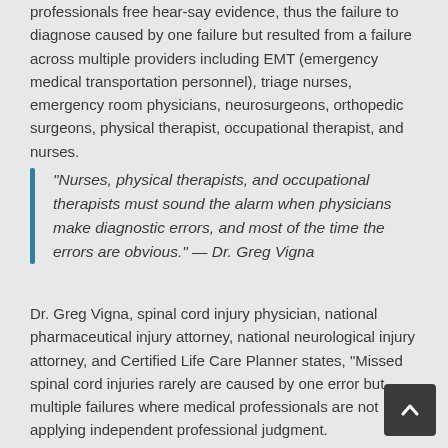professionals free hear-say evidence, thus the failure to diagnose caused by one failure but resulted from a failure across multiple providers including EMT (emergency medical transportation personnel), triage nurses, emergency room physicians, neurosurgeons, orthopedic surgeons, physical therapist, occupational therapist, and nurses.
“Nurses, physical therapists, and occupational therapists must sound the alarm when physicians make diagnostic errors, and most of the time the errors are obvious.” — Dr. Greg Vigna
Dr. Greg Vigna, spinal cord injury physician, national pharmaceutical injury attorney, national neurological injury attorney, and Certified Life Care Planner states, “Missed spinal cord injuries rarely are caused by one error but multiple failures where medical professionals are not applying independent professional judgment. Unfortunately, we are seeing hospitals cutting costs to increase profits by moving to models that have nurse practitioners and physician assistants doing much of the